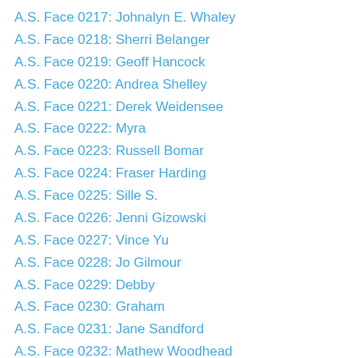A.S. Face 0217: Johnalyn E. Whaley
A.S. Face 0218: Sherri Belanger
A.S. Face 0219: Geoff Hancock
A.S. Face 0220: Andrea Shelley
A.S. Face 0221: Derek Weidensee
A.S. Face 0222: Myra
A.S. Face 0223: Russell Bomar
A.S. Face 0224: Fraser Harding
A.S. Face 0225: Sille S.
A.S. Face 0226: Jenni Gizowski
A.S. Face 0227: Vince Yu
A.S. Face 0228: Jo Gilmour
A.S. Face 0229: Debby
A.S. Face 0230: Graham
A.S. Face 0231: Jane Sandford
A.S. Face 0232: Mathew Woodhead
A.S. Face 0233: Kendell Muhr
A.S. Face 0234: Danielle Henkel
A.S. Face 0235: Don Earls
A.S. Face 0236: Paula Geerinck